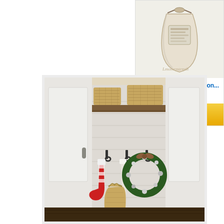[Figure (photo): Amazon advertisement showing a personalized 100% cotton Santa sack product with price CDN$ 12.99 and Shop now button]
[Figure (photo): Interior photo of a mudroom or entryway with shiplap white walls, a wooden shelf with wicker baskets, black hooks holding Christmas stockings and a decorative wreath with ornaments, and a burlap bag on the floor]